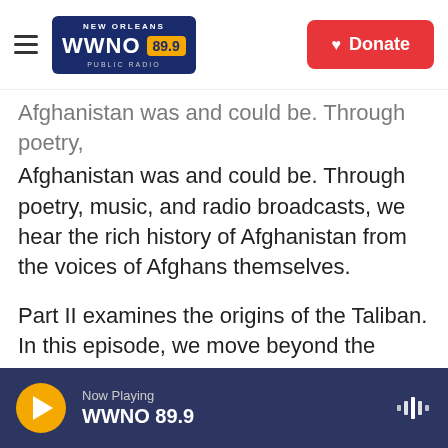NEW ORLEANS WWNO 89.9 PUBLIC RADIO | Donate
Afghanistan was and could be. Through poetry, music, and radio broadcasts, we hear the rich history of Afghanistan from the voices of Afghans themselves.
Part II examines the origins of the Taliban. In this episode, we move beyond the tropes to understand what traumatic historical and political forces led to the Taliban's formation and rise. Through poetry from Taliban fighters and Afghan women who had to live under their harsh rule, we complicate the story of a group who has been caricatured in the West. The series concludes with Drone Wars, a look
Now Playing WWNO 89.9